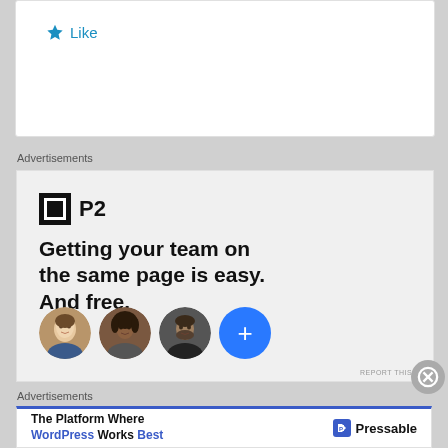★ Like
Advertisements
[Figure (infographic): P2 advertisement: Logo showing black square with white outlined square and 'P2' text. Headline reads 'Getting your team on the same page is easy. And free.' Below are three circular avatar photos and a blue circle with a plus sign.]
REPORT THIS AD
Advertisements
[Figure (infographic): Pressable advertisement with blue top border. Left side reads 'The Platform Where WordPress Works Best'. Right side shows Pressable logo (blue square with P icon) and 'Pressable' text.]